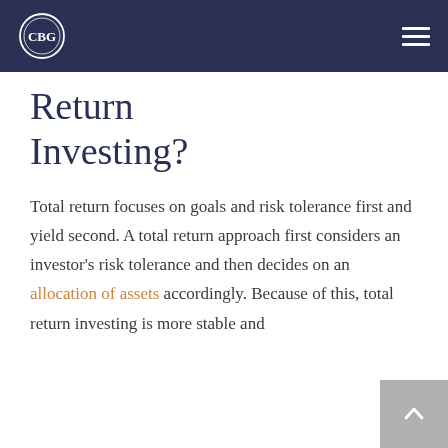CBG logo and navigation
Return Investing?
Total return focuses on goals and risk tolerance first and yield second. A total return approach first considers an investor's risk tolerance and then decides on an allocation of assets accordingly. Because of this, total return investing is more stable and